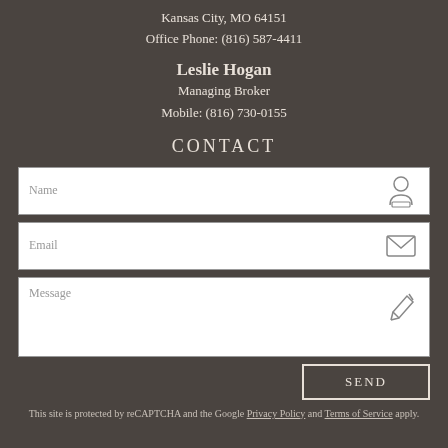Kansas City, MO 64151
Office Phone: (816) 587-4411
Leslie Hogan
Managing Broker
Mobile: (816) 730-0155
CONTACT
[Figure (screenshot): Contact form with Name, Email, and Message fields with icons, plus a SEND button]
This site is protected by reCAPTCHA and the Google Privacy Policy and Terms of Service apply.